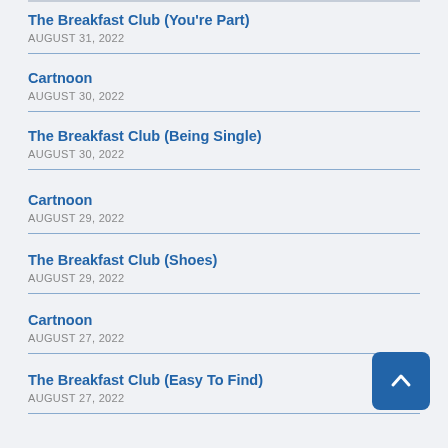The Breakfast Club (You're Part)
AUGUST 31, 2022
Cartnoon
AUGUST 30, 2022
The Breakfast Club (Being Single)
AUGUST 30, 2022
Cartnoon
AUGUST 29, 2022
The Breakfast Club (Shoes)
AUGUST 29, 2022
Cartnoon
AUGUST 27, 2022
The Breakfast Club (Easy To Find)
AUGUST 27, 2022